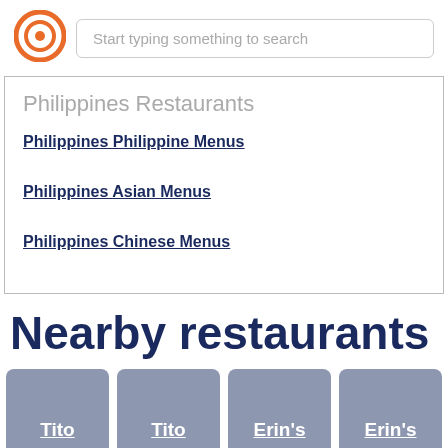[Figure (logo): Orange circular logo with inner ring, resembling a search/location icon]
Start typing something to search
Philippines Restaurants
Philippines Philippine Menus
Philippines Asian Menus
Philippines Chinese Menus
Nearby restaurants
Tito Pak's
Tito Pak's
Erin's Place
Erin's Place